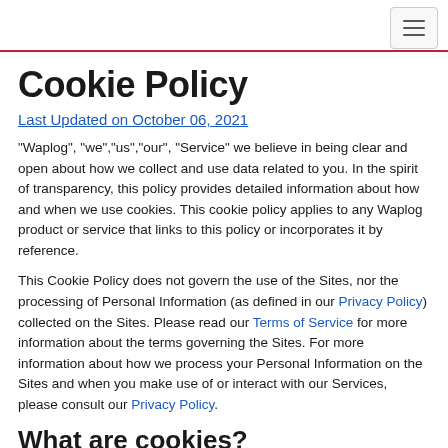Cookie Policy
Last Updated on October 06, 2021
“Waplog”, “we”,“us”,“our”, “Service” we believe in being clear and open about how we collect and use data related to you. In the spirit of transparency, this policy provides detailed information about how and when we use cookies. This cookie policy applies to any Waplog product or service that links to this policy or incorporates it by reference.
This Cookie Policy does not govern the use of the Sites, nor the processing of Personal Information (as defined in our Privacy Policy) collected on the Sites. Please read our Terms of Service for more information about the terms governing the Sites. For more information about how we process your Personal Information on the Sites and when you make use of or interact with our Services, please consult our Privacy Policy.
What are cookies?